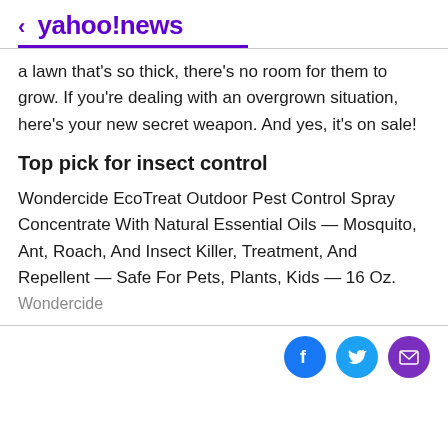< yahoo!news
a lawn that's so thick, there's no room for them to grow. If you're dealing with an overgrown situation, here's your new secret weapon. And yes, it's on sale!
Top pick for insect control
Wondercide EcoTreat Outdoor Pest Control Spray Concentrate With Natural Essential Oils — Mosquito, Ant, Roach, And Insect Killer, Treatment, And Repellent — Safe For Pets, Plants, Kids — 16 Oz.
Wondercide